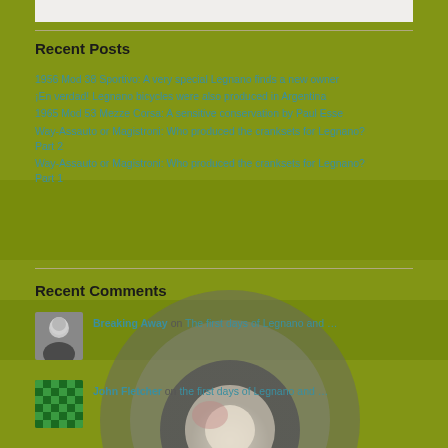[Figure (photo): Blurred macro photo of a bicycle component (bolt/nut) against a yellow-green painted metal background, used as page background]
Recent Posts
1956 Mod 38 Sportivo: A very special Legnano finds a new owner
En verdad! Legnano bicycles were also produced in Argentina
1965 Mod 53 Mezze Corsa: A sensitive conservation by Paul Esse
Way-Assauto or Magistroni: Who produced the cranksets for Legnano? Part 2
Way-Assauto or Magistroni: Who produced the cranksets for Legnano? Part 1
Recent Comments
[Figure (photo): Black and white avatar photo of a bald man]
Breaking Away on The first days of Legnano and …
[Figure (illustration): Green pixel/mosaic pattern avatar for John Fletcher]
John Fletcher on the first days of Legnano and …